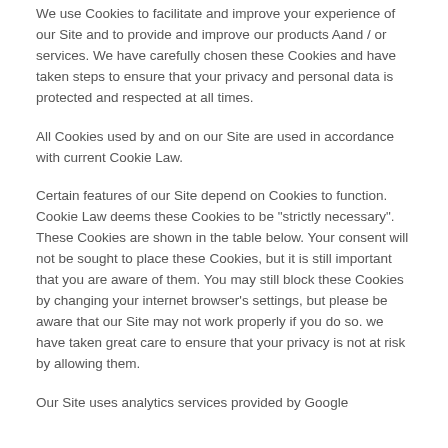We use Cookies to facilitate and improve your experience of our Site and to provide and improve our products Aand / or services. We have carefully chosen these Cookies and have taken steps to ensure that your privacy and personal data is protected and respected at all times.
All Cookies used by and on our Site are used in accordance with current Cookie Law.
Certain features of our Site depend on Cookies to function. Cookie Law deems these Cookies to be "strictly necessary". These Cookies are shown in the table below. Your consent will not be sought to place these Cookies, but it is still important that you are aware of them. You may still block these Cookies by changing your internet browser's settings, but please be aware that our Site may not work properly if you do so. we have taken great care to ensure that your privacy is not at risk by allowing them.
Our Site uses analytics services provided by Google